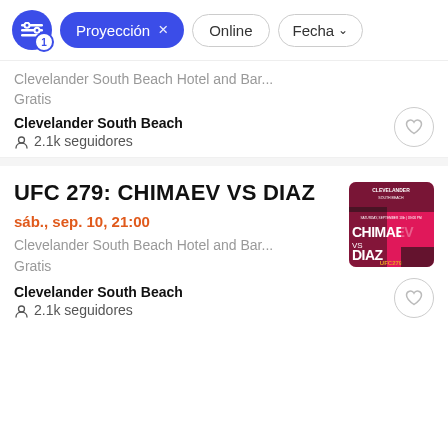Proyección × | Online | Fecha ↓
Clevelander South Beach Hotel and Bar...
Gratis
Clevelander South Beach
2.1k seguidores
UFC 279: CHIMAEV VS DIAZ
sáb., sep. 10, 21:00
Clevelander South Beach Hotel and Bar...
Gratis
Clevelander South Beach
2.1k seguidores
[Figure (photo): UFC 279 Chimaev vs Diaz promotional poster with hot pink and black design, showing CHIMAEV VS DIAZ text and UFC 279 branding. Saturday September 10th 09:00 PM event info.]